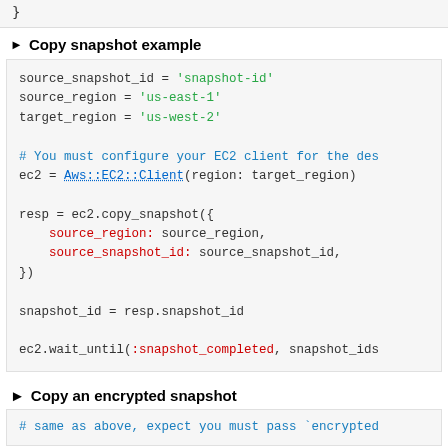}
▶ Copy snapshot example
source_snapshot_id = 'snapshot-id'
source_region = 'us-east-1'
target_region = 'us-west-2'

# You must configure your EC2 client for the des
ec2 = Aws::EC2::Client(region: target_region)

resp = ec2.copy_snapshot({
    source_region: source_region,
    source_snapshot_id: source_snapshot_id,
})

snapshot_id = resp.snapshot_id

ec2.wait_until(:snapshot_completed, snapshot_ids
▶ Copy an encrypted snapshot
# same as above, expect you must pass `encrypted